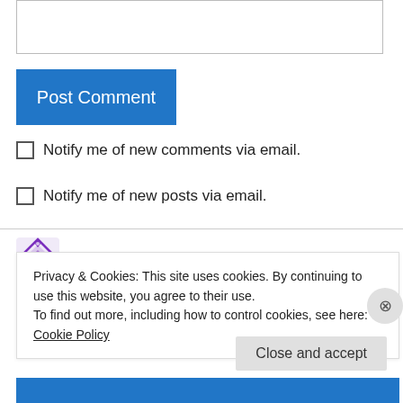[Figure (other): Text input box (comment field)]
Post Comment
Notify me of new comments via email.
Notify me of new posts via email.
[Figure (other): User avatar icon - purple geometric snowflake/diamond pattern]
Lisa J on February 25, 2010 at 9:30 am
Privacy & Cookies: This site uses cookies. By continuing to use this website, you agree to their use.
To find out more, including how to control cookies, see here: Cookie Policy
Close and accept